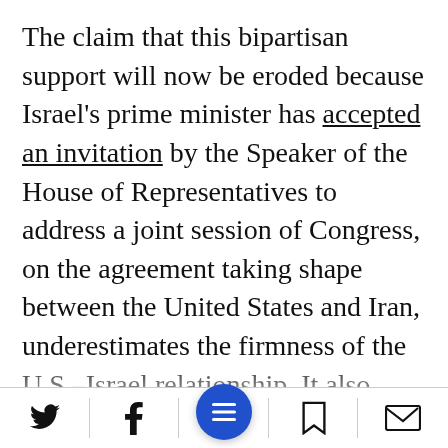The claim that this bipartisan support will now be eroded because Israel's prime minister has accepted an invitation by the Speaker of the House of Representatives to address a joint session of Congress, on the agreement taking shape between the United States and Iran, underestimates the firmness of the U.S.–Israel relationship. It also ignores the fact that reservations in the United States regarding this agreement are bipartisan, and come from Democrats and Republicans alike.
Regardless of their party preference, all
[Figure (other): Bottom toolbar with social share icons: Twitter (bird), Facebook (f), centered blue circular menu button with hamburger/lines icon, bookmark icon, and email/envelope icon]